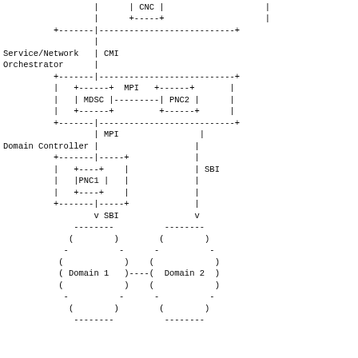[Figure (schematic): ASCII art network architecture diagram showing CNC at top, connected via CMI to Service/Network Orchestrator level with MDSC and PNC2 (connected by MPI), then via MPI down to Domain Controller level with PNC1, then SBI connections down to Domain 1 and Domain 2 (shown as oval shapes connected by dashed line)]